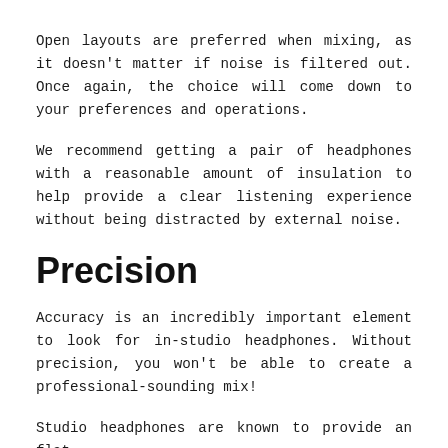Open layouts are preferred when mixing, as it doesn't matter if noise is filtered out. Once again, the choice will come down to your preferences and operations.
We recommend getting a pair of headphones with a reasonable amount of insulation to help provide a clear listening experience without being distracted by external noise.
Precision
Accuracy is an incredibly important element to look for in-studio headphones. Without precision, you won't be able to create a professional-sounding mix!
Studio headphones are known to provide an flat...